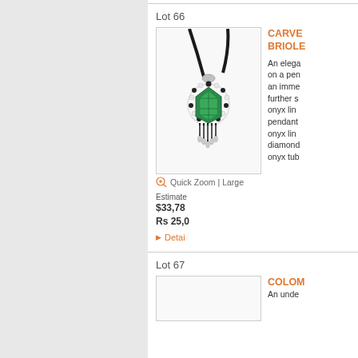Lot 66
[Figure (photo): A carved emerald briolette pendant necklace on a black cord with diamond and onyx accents and dangling fringe]
Quick Zoom | Large
CARVE... BRIOLE...
An elega... on a pen... an imme... further s... onyx lin... pendant... onyx lin... diamond... onyx tub...
Estimate
$33,78...
Rs 25,0...
Detai...
Lot 67
COLOM...
An unde...